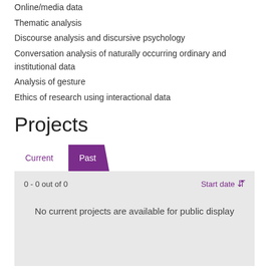Online/media data
Thematic analysis
Discourse analysis and discursive psychology
Conversation analysis of naturally occurring ordinary and institutional data
Analysis of gesture
Ethics of research using interactional data
Projects
0 - 0 out of 0
Start date
No current projects are available for public display